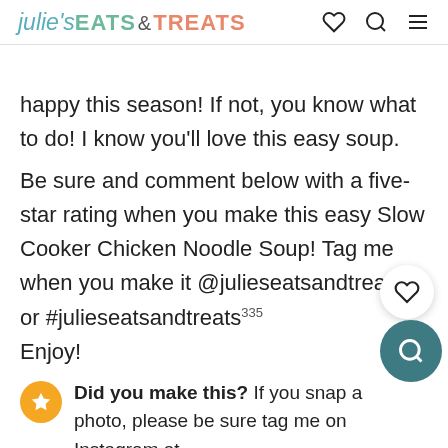julie's EATS & TREATS
happy this season! If not, you know what to do! I know you'll love this easy soup.
Be sure and comment below with a five-star rating when you make this easy Slow Cooker Chicken Noodle Soup! Tag me when you make it @julieseatsandtreats or #julieseatsandtreats Enjoy!
Did you make this? If you snap a photo, please be sure tag me on Instagram at @julieseatsandtreats or #julieseatsandtreats so I can see your